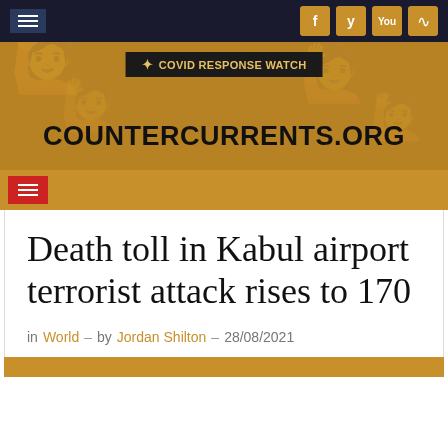[Figure (screenshot): Website navigation bar with hamburger menu on left and social media icons (Facebook, Twitter, YouTube, RSS) on right against dark background]
[Figure (logo): CounterCurrents.org website banner with COVID Response Watch badge on golden/amber background with faint protest crowd imagery]
Death toll in Kabul airport terrorist attack rises to 170
in World – by Jordan Shilton – 28/08/2021